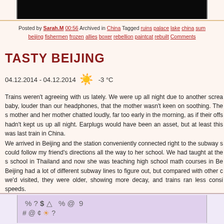[Figure (photo): Dark/black image at the top of the page, appears to be a cropped photo]
Posted by Sarah.M 00:56 Archived in China Tagged ruins palace lake china sum beijing fishermen frozen allies boxer rebellion paintcat rebuilt Comments
TASTY BEIJING
04.12.2014 - 04.12.2014 ☀ -3 °C
Trains weren't agreeing with us lately. We were up all night due to another screa baby, louder than our headphones, that the mother wasn't keen on soothing. The s mother and her mother chatted loudly, far too early in the morning, as if their offs hadn't kept us up all night. Earplugs would have been an asset, but at least this was last train in China.
We arrived in Beijing and the station conveniently connected right to the subway s could follow my friend's directions all the way to her school. We had taught at the s school in Thailand and now she was teaching high school math courses in Be Beijing had a lot of different subway lines to figure out, but compared with other c we'd visited, they were older, showing more decay, and trains ran less consi speeds.
[Figure (photo): Purple/lavender background image with math symbols and characters including %, ?, $, #, @, 9]